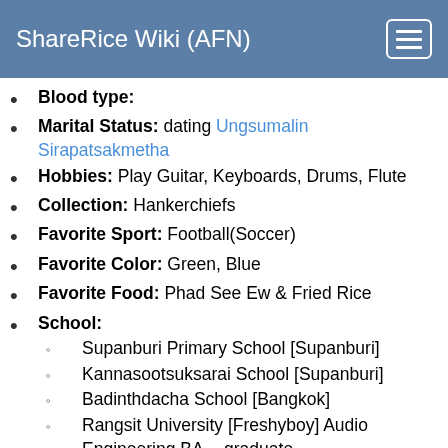ShareRice Wiki (AFN)
Blood type:
Marital Status: dating Ungsumalin Sirapatsakmetha
Hobbies: Play Guitar, Keyboards, Drums, Flute
Collection: Hankerchiefs
Favorite Sport: Football(Soccer)
Favorite Color: Green, Blue
Favorite Food: Phad See Ew & Fried Rice
School: Supanburi Primary School [Supanburi]; Kannasootsuksarai School [Supanburi]; Badinthdacha School [Bangkok]; Rangsit University [Freshyboy] Audio Engineering BA. - graduate
Personality: Funny with close friends,Quiet during the 1st encounters, really hyper with someone close and quiet with someone that he isn't so close with
Girl in Mind: Pretty, easy to get along with, and loves his parents
Future Goal: Being a music producer
Quick Facts about Dan: When he was in high school he dated